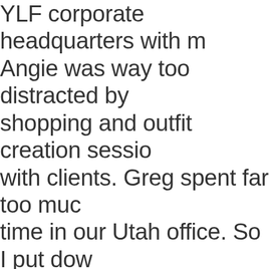YLF corporate headquarters with m Angie was way too distracted by shopping and outfit creation session with clients. Greg spent far too muc time in our Utah office. So I put dow my paw, and for the last five weeks have been staying here with me alm all of the time. This episode made it clear that I was really the one makin the big decisions. And as such, it wa time for me to formally take